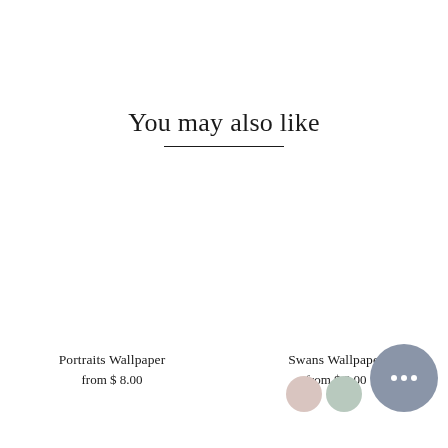You may also like
Portraits Wallpaper
from $ 8.00
Swans Wallpaper
from $ 8.00